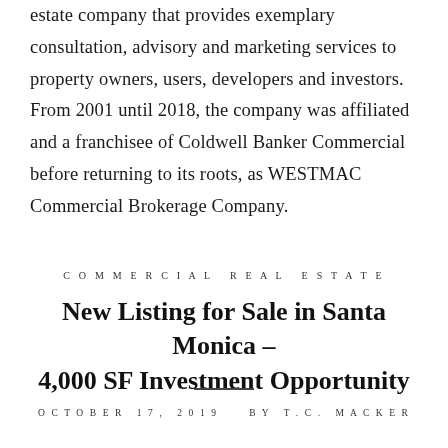estate company that provides exemplary consultation, advisory and marketing services to property owners, users, developers and investors. From 2001 until 2018, the company was affiliated and a franchisee of Coldwell Banker Commercial before returning to its roots, as WESTMAC Commercial Brokerage Company.
COMMERCIAL REAL ESTATE
New Listing for Sale in Santa Monica – 4,000 SF Investment Opportunity
OCTOBER 17, 2019     BY T.C. MACKER